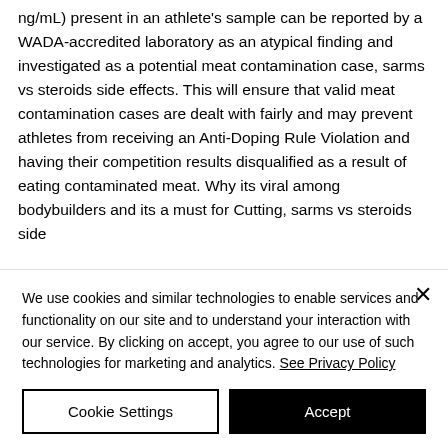ng/mL) present in an athlete's sample can be reported by a WADA-accredited laboratory as an atypical finding and investigated as a potential meat contamination case, sarms vs steroids side effects. This will ensure that valid meat contamination cases are dealt with fairly and may prevent athletes from receiving an Anti-Doping Rule Violation and having their competition results disqualified as a result of eating contaminated meat. Why its viral among bodybuilders and its a must for Cutting, sarms vs steroids side ...
We use cookies and similar technologies to enable services and functionality on our site and to understand your interaction with our service. By clicking on accept, you agree to our use of such technologies for marketing and analytics. See Privacy Policy
Cookie Settings
Accept